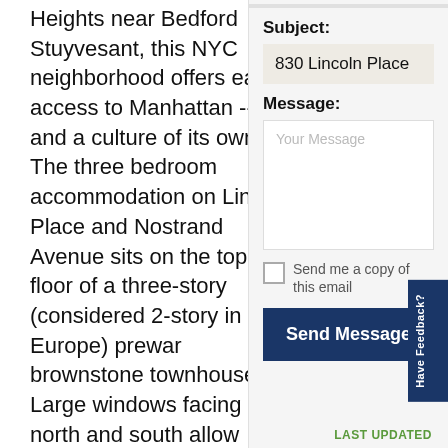Heights near Bedford Stuyvesant, this NYC neighborhood offers easy access to Manhattan -- and a culture of its own! The three bedroom accommodation on Lincoln Place and Nostrand Avenue sits on the top floor of a three-story (considered 2-story in Europe) prewar brownstone townhouse. Large windows facing north and south allow maximum ventilation.
Hardwood floors and modern décor throughout the home give this apartment a relaxed and luxurious feel. Bedroom 1 is separated from bedrooms 2 and 3 by the living room. The main door
Subject:
830 Lincoln Place
Message:
Your Message
Send me a copy of this email
Send Message
Have Feedback?
LAST UPDATED